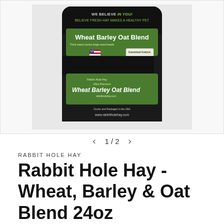[Figure (photo): A black plastic bag of Rabbit Hole Hay Ultra Premium Wheat Barley Oat Blend hay product. The bag has a dark background with green label sections showing 'Wheat Barley Oat Blend', 'Thick weed stocks large seed heads', a US flag, a rabbit logo, and text reading 'Grown and Packaged in the USA www.rabbitholehay.com'. Top of bag reads 'WE BELIEVE IN YOU! BELIEVE FRESH HAY MAKES A HEALTHY PET'.]
1 / 2
RABBIT HOLE HAY
Rabbit Hole Hay - Wheat, Barley & Oat Blend 24oz